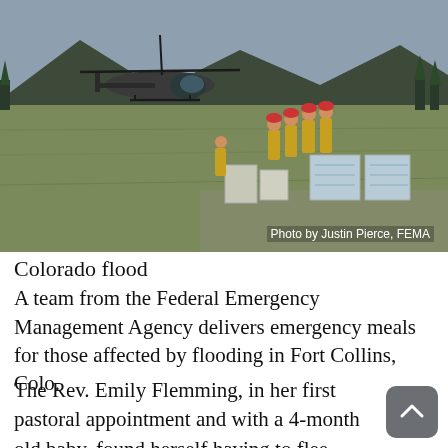[Figure (photo): A helicopter on a field with workers in yellow uniforms unloading supplies including water pallets. Mountains and trees visible in background. Colorado flood relief operation.]
Photo by Justin Pierce, FEMA
Colorado flood
A team from the Federal Emergency Management Agency delivers emergency meals for those affected by flooding in Fort Collins, Colo.
The Rev. Emily Flemming, in her first pastoral appointment and with a 4-month old baby, found herself having to flee Lyons, Colo., this